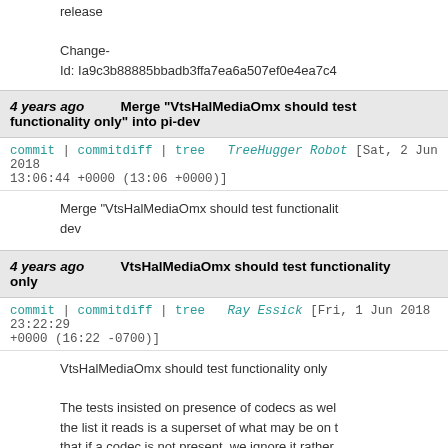release
Change-Id: Ia9c3b88885bbadb3ffa7ea6a507ef0e4ea7c4
4 years ago  Merge "VtsHalMediaOmx should test functionality only" into pi-dev
commit | commitdiff | tree  TreeHugger Robot [Sat, 2 Jun 2018 13:06:44 +0000 (13:06 +0000)]
Merge "VtsHalMediaOmx should test functionality only" into pi-dev
4 years ago  VtsHalMediaOmx should test functionality only
commit | commitdiff | tree  Ray Essick [Fri, 1 Jun 2018 23:22:29 +0000 (16:22 -0700)]
VtsHalMediaOmx should test functionality only
The tests insisted on presence of codecs as well as the list it reads is a superset of what may be on t that if a codec is not present, we ignore it rather